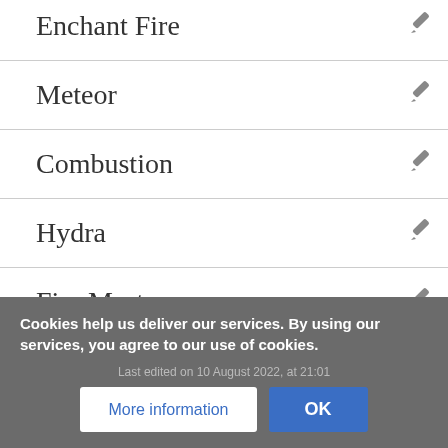Enchant Fire
Meteor
Combustion
Hydra
Fire Mastery
Cookies help us deliver our services. By using our services, you agree to our use of cookies.
Last edited on 10 August 2022, at 21:01